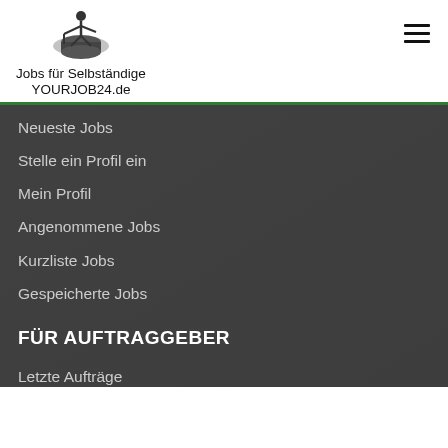[Figure (logo): YOURJOB24.de logo — silhouette figure with drum, text 'Jobs für Selbständige' and 'YOURJOB24.de']
Neueste Jobs
Stelle ein Profil ein
Mein Profil
Angenommene Jobs
Kurzliste Jobs
Gespeicherte Jobs
FÜR AUFTRAGGEBER
Letzte Aufträge